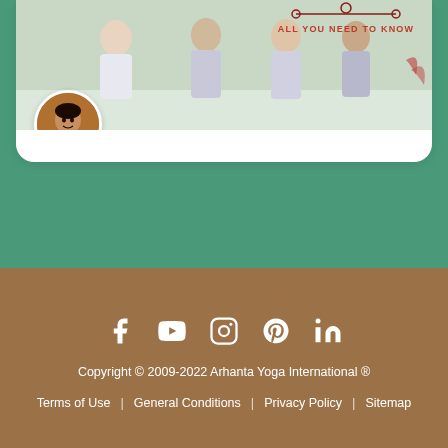[Figure (photo): Top portion of a card showing people doing yoga, with 'ALL YOU NEED TO KNOW' text overlay and decorative red line elements]
[Figure (photo): Circular avatar photo of Ram Jain, a man with dark hair]
Ram Jain
July 21, 2022
Ujjayi Breath & Ujjayi Pranayama – All You Need to Know
[Figure (infographic): Social media icons: Facebook, YouTube, Instagram, Pinterest, LinkedIn in white on brown background]
Copyright © 2009-2022 Arhanta Yoga International ®
Terms of Use | General Conditions | Privacy Policy | Sitemap